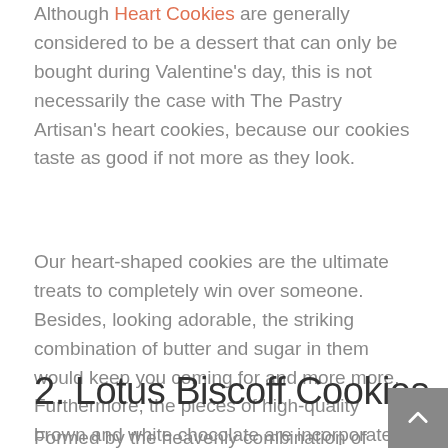Although Heart Cookies are generally considered to be a dessert that can only be bought during Valentine's day, this is not necessarily the case with The Pastry Artisan's heart cookies, because our cookies taste as good if not more as they look.
Our heart-shaped cookies are the ultimate treats to completely win over someone. Besides, looking adorable, the striking combination of butter and sugar in them would keep you coming for and more more. Furthermore, the pieces of high-quality brown and white chocolate are incorporated so beautifully in them, that every bite would catch you by surprise.
2. Lotus Biscoff Cookies
Formed by the heavenly combination of coffee and